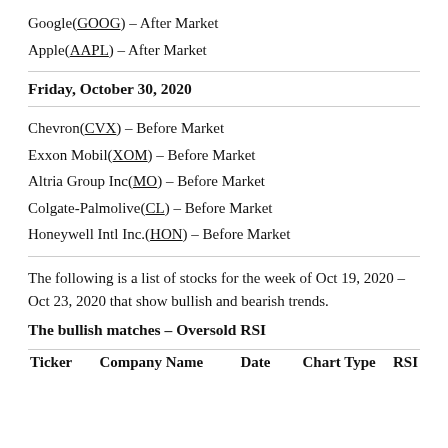Google(GOOG) – After Market
Apple(AAPL) – After Market
Friday, October 30, 2020
Chevron(CVX) – Before Market
Exxon Mobil(XOM) – Before Market
Altria Group Inc(MO) – Before Market
Colgate-Palmolive(CL) – Before Market
Honeywell Intl Inc.(HON) – Before Market
The following is a list of stocks for the week of Oct 19, 2020 – Oct 23, 2020 that show bullish and bearish trends.
The bullish matches – Oversold RSI
| Ticker | Company Name | Date | Chart Type | RSI |
| --- | --- | --- | --- | --- |